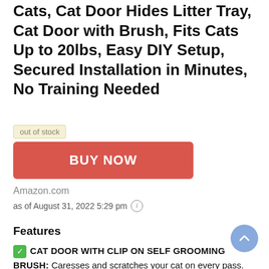Cats, Cat Door Hides Litter Tray, Cat Door with Brush, Fits Cats Up to 20lbs, Easy DIY Setup, Secured Installation in Minutes, No Training Needed
out of stock
BUY NOW
Amazon.com
as of August 31, 2022 5:29 pm
Features
CAT DOOR WITH CLIP ON SELF GROOMING BRUSH: Caresses and scratches your cat on every pass. VIP Treatment.
REDUCES CAT HAIR SCATTERED ACROSS THE